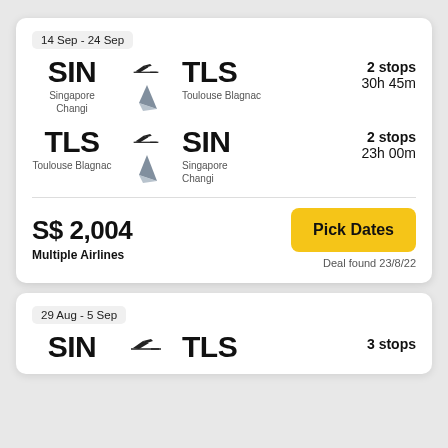14 Sep - 24 Sep
SIN → TLS  2 stops  30h 45m  Singapore Changi  Toulouse Blagnac
TLS → SIN  2 stops  23h 00m  Toulouse Blagnac  Singapore Changi
S$ 2,004
Multiple Airlines
Pick Dates
Deal found 23/8/22
29 Aug - 5 Sep
SIN → TLS  3 stops